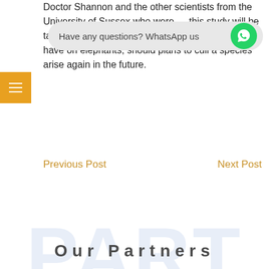Doctor Shannon and the other scientists from the University of Sussex who were [...] this study will be taken [...] lasting impact that culling can and does have on elephants, should plans to cull a species arise again in the future.
Previous Post
Next Post
Our Partners
[Figure (logo): Africa-shaped icon in a grey circle - partner organization logo]
[Figure (logo): Stylized elephant logo - partner organization logo]